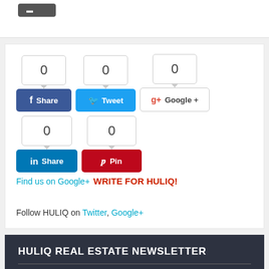[Figure (screenshot): Dark gray button (partially visible) at top of page]
[Figure (infographic): Social share buttons row: Facebook Share (0), Twitter Tweet (0), Google+ (0), LinkedIn Share (0), Pinterest Pin (0), Find us on Google+, WRITE FOR HULIQ!]
Follow HULIQ on Twitter, Google+
HULIQ REAL ESTATE NEWSLETTER
Keep up to date with the latest news and developments in real estate.
E-mail *